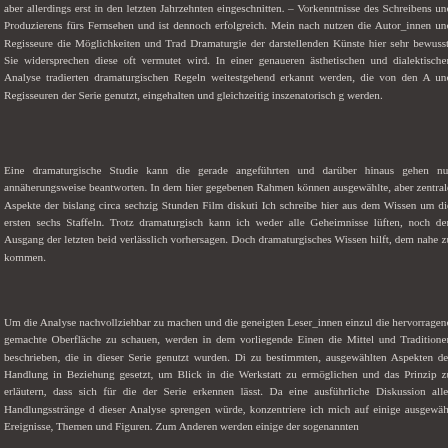aber allerdings erst in den letzten Jahrzehnten eingeschnitten. – Vorkenntnisse des Schreibens und Produzierens fürs Fernsehen und ist dennoch erfolgreich. Mein nach nutzen die Autor_innen und Regisseure die Möglichkeiten und Trad Dramaturgie der darstellenden Künste hier sehr bewusst. Sie widersprechen diese oft vermutet wird. In einer genaueren ästhetischen und dialektischen Analyse tradierten dramaturgischen Regeln weitestgehend erkannt werden, die von den A und Regisseuren der Serie genutzt, eingehalten und gleichzeitig inszenatorisch g werden.
Eine dramaturgische Studie kann die gerade angeführten und darüber hinaus gehen nur annäherungsweise beantworten. In dem hier gegebenen Rahmen können ausgewählte, aber zentrale Aspekte der bislang circa sechzig Stunden Film diskuti Ich schreibe hier aus dem Wissen um die ersten sechs Staffeln. Trotz dramaturgisch kann ich weder alle Geheimnisse lüften, noch den Ausgang der letzten beid verlässlich vorhersagen. Doch dramaturgisches Wissen hilft, dem nahe zu kommen.
Um die Analyse nachvollziehbar zu machen und die geneigten Leser_innen einzul die hervorragend gemachte Oberfläche zu schauen, werden in dem vorliegende Einen die Mittel und Traditionen beschrieben, die in dieser Serie genutzt wurden. Di zu bestimmten, ausgewählten Aspekten der Handlung in Beziehung gesetzt, um Blick in die Werkstatt zu ermöglichen und das Prinzip zu erläutern, dass sich für die der Serie erkennen lässt. Da eine ausführliche Diskussion aller Handlungsstränge d dieser Analyse sprengen würde, konzentriere ich mich auf einige ausgewähl Ereignisse, Themen und Figuren. Zum Anderen werden einige der sogenannten